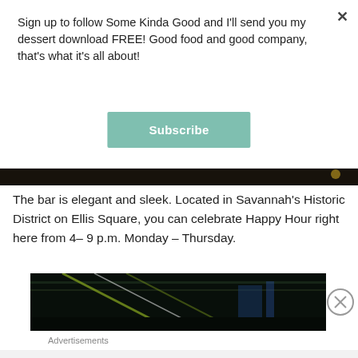Sign up to follow Some Kinda Good and I'll send you my dessert download FREE! Good food and good company, that's what it's all about!
Subscribe
[Figure (photo): Dark photograph strip, likely interior of a bar, very dark image used as visual divider]
The bar is elegant and sleek. Located in Savannah's Historic District on Ellis Square, you can celebrate Happy Hour right here from 4– 9 p.m. Monday – Thursday.
[Figure (photo): Dark interior photo of a bar with overhead lights/tracks visible, very dark ambiance]
Advertisements